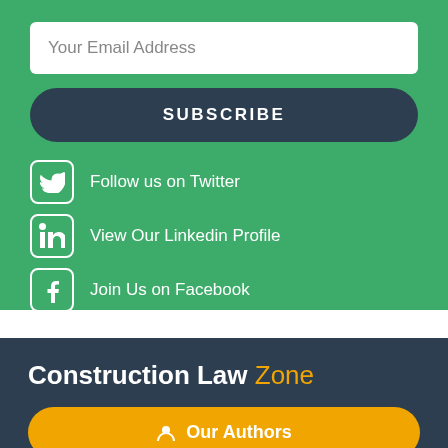Your Email Address
SUBSCRIBE
Follow us on Twitter
View Our Linkedin Profile
Join Us on Facebook
Construction Law Zone
Our Authors